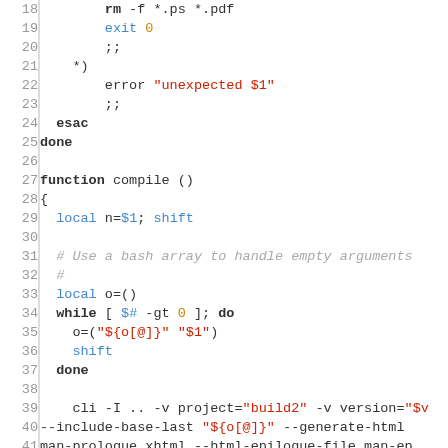[Figure (screenshot): Shell script source code with syntax highlighting, lines 18-47, showing a case/esac block and a compile() function with bash array handling and cli commands.]